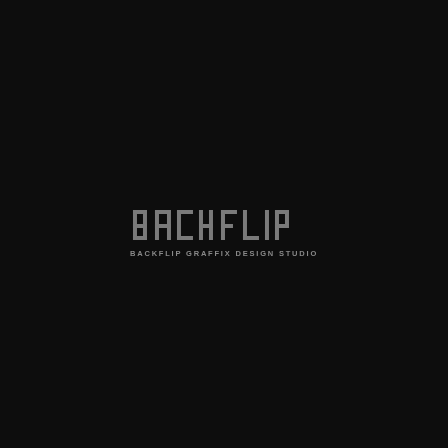[Figure (logo): Backflip Graffix Design Studio logo on black background. Features stylized mirrored/reversed letterforms spelling BACKFLIP in a bold graffiti-tech style, with 'BACKFLIP GRAFFIX DESIGN STUDIO' in small caps beneath.]